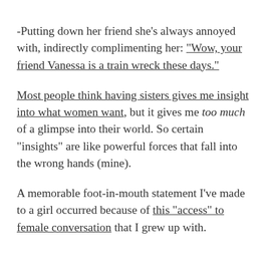-Putting down her friend she's always annoyed with, indirectly complimenting her: "Wow, your friend Vanessa is a train wreck these days."
Most people think having sisters gives me insight into what women want, but it gives me too much of a glimpse into their world. So certain "insights" are like powerful forces that fall into the wrong hands (mine).
A memorable foot-in-mouth statement I've made to a girl occurred because of this "access" to female conversation that I grew up with.